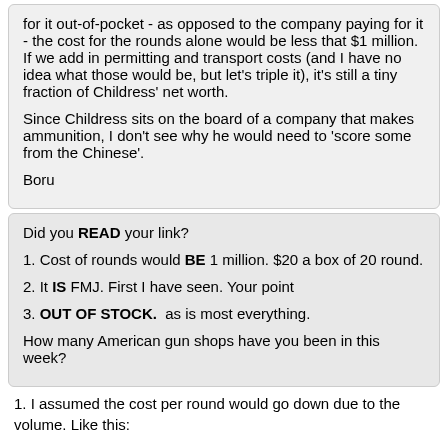for it out-of-pocket - as opposed to the company paying for it - the cost for the rounds alone would be less that $1 million. If we add in permitting and transport costs (and I have no idea what those would be, but let's triple it), it's still a tiny fraction of Childress' net worth.

Since Childress sits on the board of a company that makes ammunition, I don't see why he would need to 'score some from the Chinese'.

Boru
Did you READ your link?

1. Cost of rounds would BE 1 million. $20 a box of 20 round.

2. It IS FMJ. First I have seen. Your point

3. OUT OF STOCK.  as is most everything.

How many American gun shops have you been in this week?
1. I assumed the cost per round would go down due to the volume. Like this: